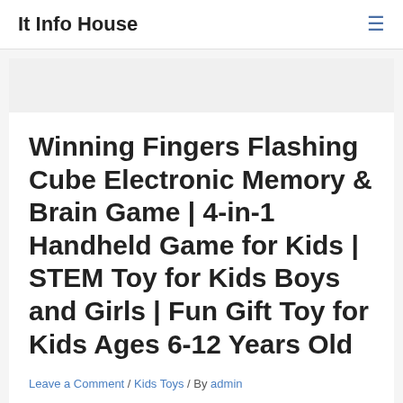It Info House
Winning Fingers Flashing Cube Electronic Memory & Brain Game | 4-in-1 Handheld Game for Kids | STEM Toy for Kids Boys and Girls | Fun Gift Toy for Kids Ages 6-12 Years Old
Leave a Comment / Kids Toys / By admin